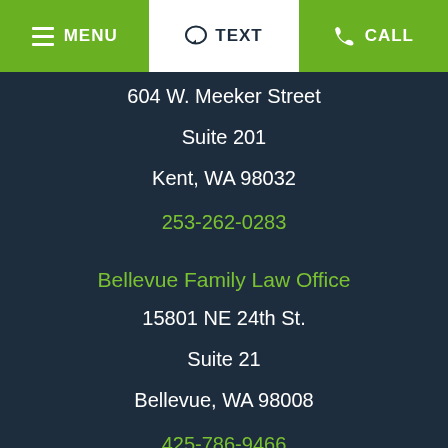MENU | TEXT | CALL
604 W. Meeker Street
Suite 201
Kent, WA 98032
253-262-0283
Bellevue Family Law Office
15801 NE 24th St.
Suite 21
Bellevue, WA 98008
425-786-9466
Fircrest Family Law Office
6314 19th Street W.